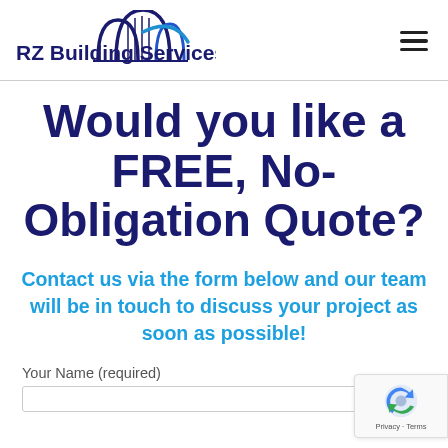[Figure (logo): RZ Building Services LTD logo with arch/bridge graphic in navy and blue]
Would you like a FREE, No-Obligation Quote?
Contact us via the form below and our team will be in touch to discuss your project as soon as possible!
Your Name (required)